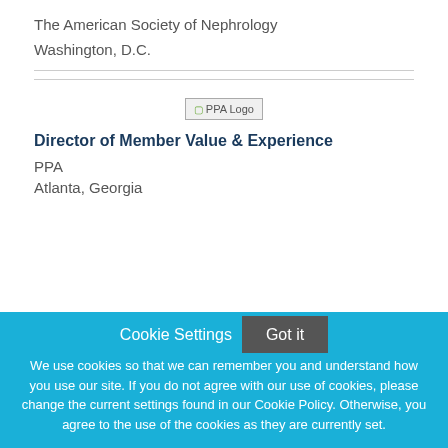The American Society of Nephrology
Washington, D.C.
[Figure (logo): PPA Logo placeholder image]
Director of Member Value & Experience
PPA
Atlanta, Georgia
Cookie Settings   Got it
We use cookies so that we can remember you and understand how you use our site. If you do not agree with our use of cookies, please change the current settings found in our Cookie Policy. Otherwise, you agree to the use of the cookies as they are currently set.